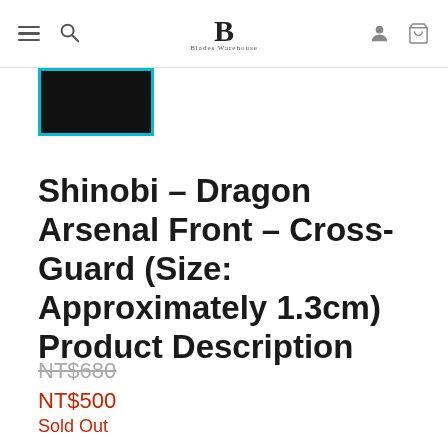Blades Warehouse — navigation header with menu, search, logo, account and cart icons
[Figure (photo): Small product thumbnail image with dark/black background, highlighted with a cyan/teal border indicating selected state]
Shinobi – Dragon Arsenal Front – Cross-Guard (Size: Approximately 1.3cm) Product Description
NT$680 (strikethrough original price)
NT$500
Sold Out